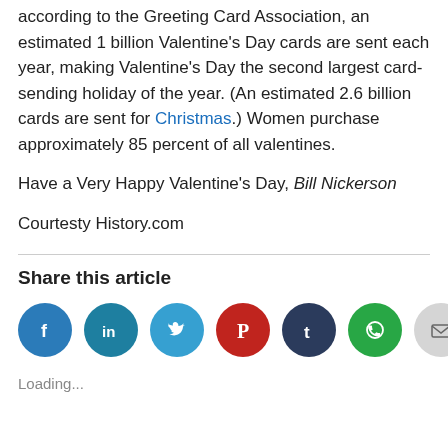according to the Greeting Card Association, an estimated 1 billion Valentine's Day cards are sent each year, making Valentine's Day the second largest card-sending holiday of the year. (An estimated 2.6 billion cards are sent for Christmas.) Women purchase approximately 85 percent of all valentines.
Have a Very Happy Valentine's Day, Bill Nickerson
Courtesty History.com
Share this article
[Figure (infographic): Row of seven social share icon circles: Facebook (blue), LinkedIn (teal), Twitter (light blue), Pinterest (red), Tumblr (dark navy), WhatsApp (green), Email (light gray)]
Loading...